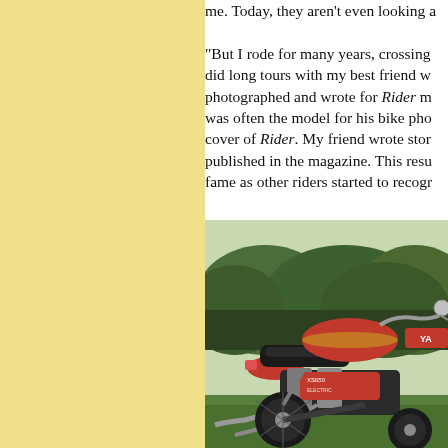me. Today, they aren't even looking a... "But I rode for many years, crossing... did long tours with my best friend w... photographed and wrote for Rider m... was often the model for his bike pho... cover of Rider. My friend wrote stor... published in the magazine. This resu... fame as other riders started to recogr...
[Figure (photo): A red Yamaha XS650 motorcycle parked outdoors on grass with green hedges/shrubs in the background. The motorcycle is viewed from the left/rear quarter angle, showing the seat, tank, engine, and rear suspension clearly.]